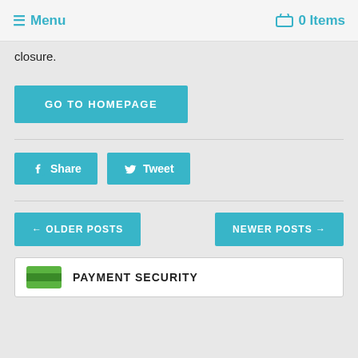☰ Menu  🛒 0 Items
closure.
GO TO HOMEPAGE
Share  Tweet
← OLDER POSTS  NEWER POSTS →
PAYMENT SECURITY